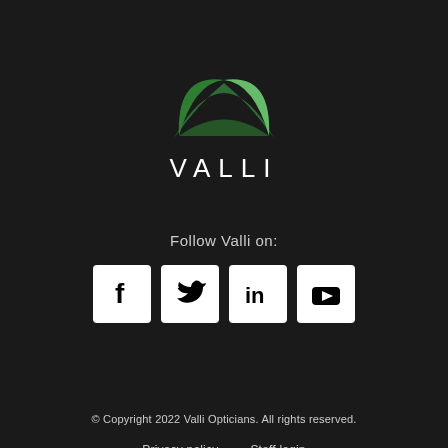[Figure (logo): Valli Opticians logo: two overlapping leaf/arch shapes in dark green and lighter green forming a stylized M or butterfly shape, above the word VALLI in white spaced capitals]
Follow Valli on:
[Figure (illustration): Four social media icons in white squares: Facebook (f), Twitter (bird), LinkedIn (in), YouTube (play button)]
© Copyright 2022 Valli Opticians. All rights reserved.
Privacy policy    Staff login